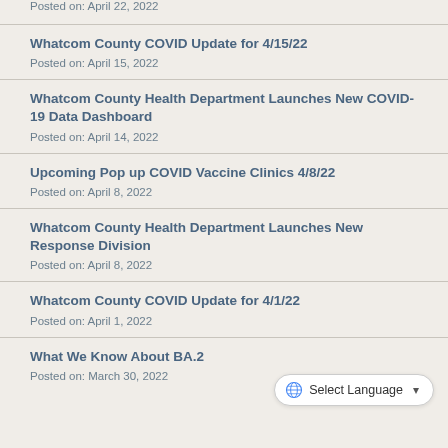Posted on: April 22, 2022
Whatcom County COVID Update for 4/15/22
Posted on: April 15, 2022
Whatcom County Health Department Launches New COVID-19 Data Dashboard
Posted on: April 14, 2022
Upcoming Pop up COVID Vaccine Clinics 4/8/22
Posted on: April 8, 2022
Whatcom County Health Department Launches New Response Division
Posted on: April 8, 2022
Whatcom County COVID Update for 4/1/22
Posted on: April 1, 2022
What We Know About BA.2
Posted on: March 30, 2022